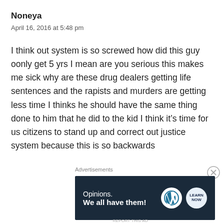Noneya
April 16, 2016 at 5:48 pm
I think out system is so screwed how did this guy oonly get 5 yrs I mean are you serious this makes me sick why are these drug dealers getting life sentences and the rapists and murders are getting less time I thinks he should have the same thing done to him that he did to the kid I think it’s time for us citizens to stand up and correct out justice system because this is so backwards
[Figure (other): Advertisement banner: 'Opinions. We all have them!' with WordPress and Learn logos on dark navy background]